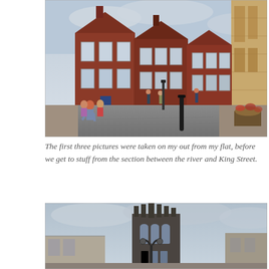[Figure (photo): Street view of red brick buildings along a cobblestone road in an English town. Pedestrians walk along the street. On the right edge is a stone Gothic-style building. A black bollard stands in the foreground.]
The first three pictures were taken on my out from my flat, before we get to stuff from the section between the river and King Street.
[Figure (photo): A Gothic church tower with pointed spires against a cloudy sky, partially visible at the bottom of the page. A street lamp is visible in the foreground.]